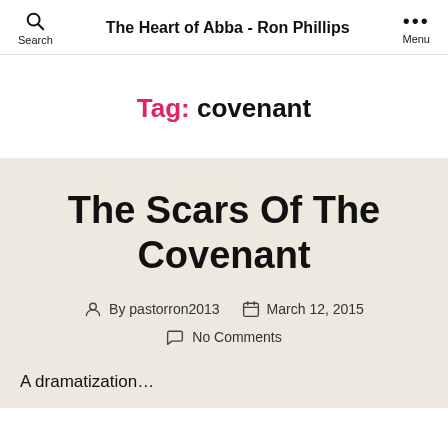The Heart of Abba - Ron Phillips
Tag: covenant
The Scars Of The Covenant
By pastorron2013   March 12, 2015   No Comments
A dramatization…